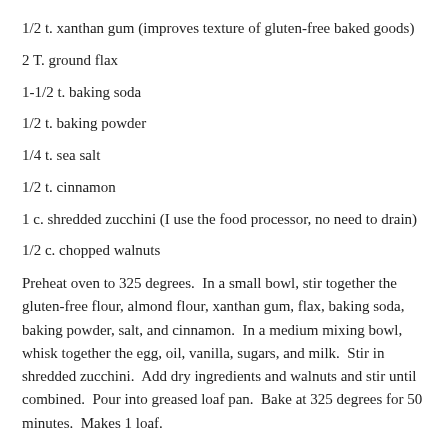1/2 t. xanthan gum (improves texture of gluten-free baked goods)
2 T. ground flax
1-1/2 t. baking soda
1/2 t. baking powder
1/4 t. sea salt
1/2 t. cinnamon
1 c. shredded zucchini (I use the food processor, no need to drain)
1/2 c. chopped walnuts
Preheat oven to 325 degrees.  In a small bowl, stir together the gluten-free flour, almond flour, xanthan gum, flax, baking soda, baking powder, salt, and cinnamon.  In a medium mixing bowl, whisk together the egg, oil, vanilla, sugars, and milk.  Stir in shredded zucchini.  Add dry ingredients and walnuts and stir until combined.  Pour into greased loaf pan.  Bake at 325 degrees for 50 minutes.  Makes 1 loaf.
This recipe also makes a good carrot bread.  Just use a cup of shredded carrots in